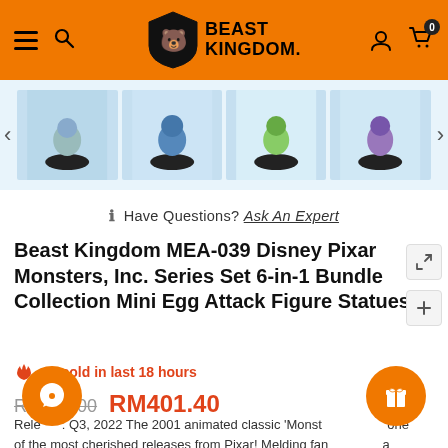[Figure (screenshot): Beast Kingdom website header with orange background, hamburger menu, search icon, Beast Kingdom shield logo, user icon, and cart icon with badge '0']
[Figure (screenshot): Row of four product thumbnail images showing Monsters Inc. Mini Egg Attack figures on black bases, with left and right navigation arrows]
Have Questions? Ask An Expert
Beast Kingdom MEA-039 Disney Pixar Monsters, Inc. Series Set 6-in-1 Bundle Collection Mini Egg Attack Figure Statues
12 sold in last 18 hours
RM446.00  RM401.40
Release: Q3, 2022 The 2001 animated classic 'Monst... one of the most cherished releases from Pixar! Melding fan... into a warm story of friendship, the story follows Sully and Mike, two of